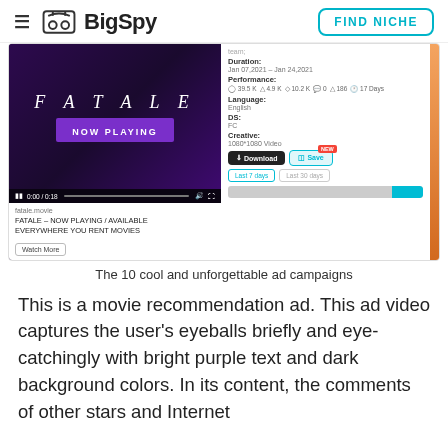BigSpy | FIND NICHE
[Figure (screenshot): BigSpy ad intelligence tool screenshot showing a FATALE movie ad with video thumbnail, ad details (Duration: Jan 07,2021 – Jan 24,2021, Performance: 39.5K, 4.9K, 10.2K, 0, 186, 17 Days, Language: English, DS: FC, Creative: 1080*1080 Video), Download and Save buttons, Last 7 days / Last 30 days tabs, and a chart bar.]
The 10 cool and unforgettable ad campaigns
This is a movie recommendation ad. This ad video captures the user's eyeballs briefly and eye-catchingly with bright purple text and dark background colors. In its content, the comments of other stars and Internet